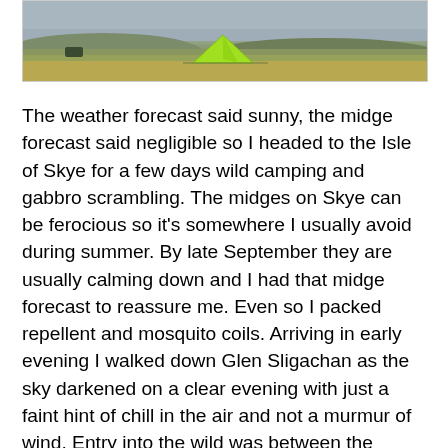[Figure (photo): A green tent pitched on moorland/grassland under a grey sky, with golden-brown grass in the foreground and hills in the background.]
The weather forecast said sunny, the midge forecast said negligible so I headed to the Isle of Skye for a few days wild camping and gabbro scrambling. The midges on Skye can be ferocious so it's somewhere I usually avoid during summer. By late September they are usually calming down and I had that midge forecast to reassure me. Even so I packed repellent and mosquito coils. Arriving in early evening I walked down Glen Sligachan as the sky darkened on a clear evening with just a faint hint of chill in the air and not a murmur of wind. Entry into the wild was between the towering sentinels of Sgurr na Gillean and Marsco, two of the magnificent mountains of Skye. As the light faded the stars started to shine and soon I was walking under a spectacular sky, another sign of the coming autumn. There are no skies like this in summer; the sky never darkens enough for the Milky Way to stand out so brightly. Revelling in the dramatic night with the stars sparkling between the black silhouettes of the hills, be it the starlight is not bright to follow the